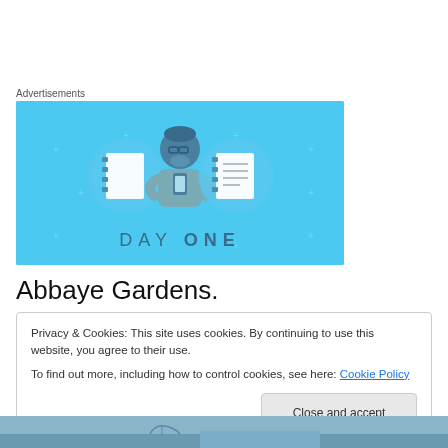Advertisements
[Figure (illustration): Day One app advertisement banner with blue background showing a person holding a phone flanked by notebook/journal icons and the text DAY ONE]
Abbaye Gardens.
Privacy & Cookies: This site uses cookies. By continuing to use this website, you agree to their use.
To find out more, including how to control cookies, see here: Cookie Policy
Close and accept
[Figure (photo): Aerial or landscape photograph of gardens/bridge area at bottom of page]